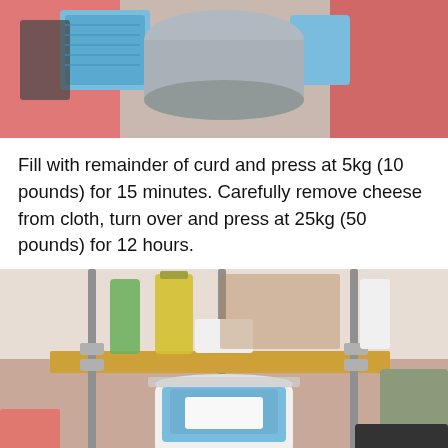[Figure (photo): Close-up photo of a homemade cheese press showing pink foam padding, blue patterned cloth, and a metal cylindrical mold being pressed from above.]
Fill with remainder of curd and press at 5kg (10 pounds) for 15 minutes. Carefully remove cheese from cloth, turn over and press at 25kg (50 pounds) for 12 hours.
[Figure (photo): Photo of a DIY cheese press made from a wooden board, threaded rods and bolts, pressing down on a white plastic bucket containing a blue cloth-wrapped cheese mold. Various kitchen items visible in background including oil bottle and soap.]